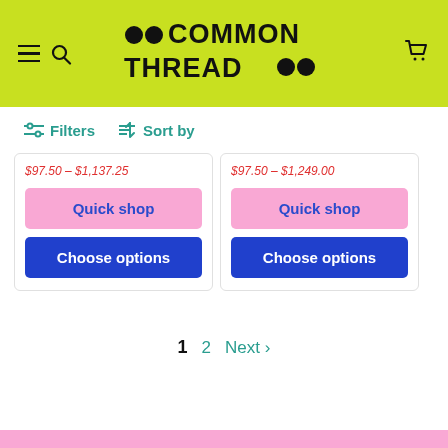[Figure (logo): Common Thread logo with dots on lime green header background]
Filters   Sort by
$97.50 – $1,137.25 (left card price range, partially visible)
$97.50 – $1,249.00 (right card price range, partially visible)
Quick shop
Choose options
Quick shop
Choose options
1   2   Next >